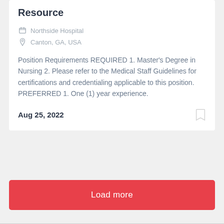Resource
Northside Hospital
Canton, GA, USA
Position Requirements REQUIRED 1. Master's Degree in Nursing 2. Please refer to the Medical Staff Guidelines for certifications and credentialing applicable to this position. PREFERRED 1. One (1) year experience.
Aug 25, 2022
Load more